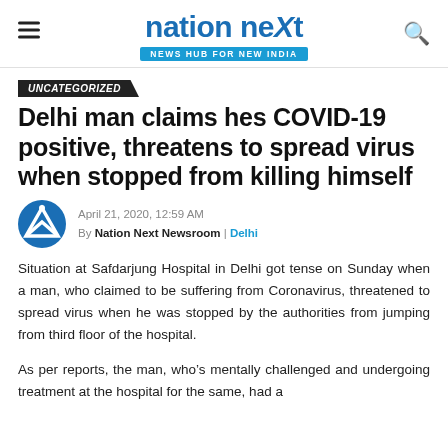nation neXt | NEWS HUB FOR NEW INDIA
UNCATEGORIZED
Delhi man claims hes COVID-19 positive, threatens to spread virus when stopped from killing himself
April 21, 2020, 12:59 AM
By Nation Next Newsroom | Delhi
Situation at Safdarjung Hospital in Delhi got tense on Sunday when a man, who claimed to be suffering from Coronavirus, threatened to spread virus when he was stopped by the authorities from jumping from third floor of the hospital.
As per reports, the man, who’s mentally challenged and undergoing treatment at the hospital for the same, had a